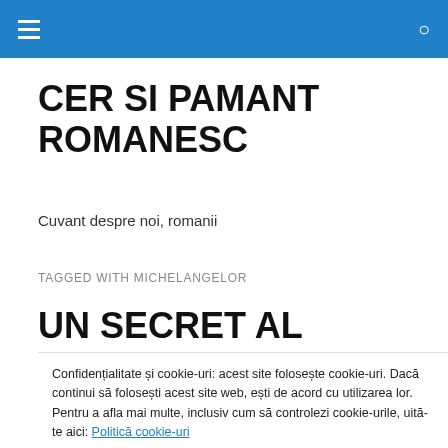CER SI PAMANT ROMANESC — navigation header bar
CER SI PAMANT ROMANESC
Cuvant despre noi, romanii
TAGGED WITH MICHELANGELOR
UN SECRET AL PICTURII DIN
Confidențialitate și cookie-uri: acest site folosește cookie-uri. Dacă continui să folosești acest site web, ești de acord cu utilizarea lor. Pentru a afla mai multe, inclusiv cum să controlezi cookie-urile, uită-te aici: Politică cookie-uri
Închide și acceptă
Sistine Chapel frescoes